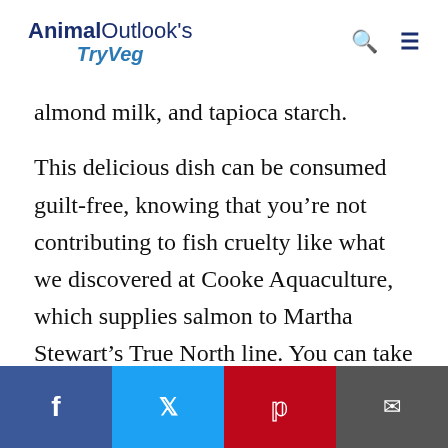AnimalOutlook's TryVeg
almond milk, and tapioca starch.
This delicious dish can be consumed guilt-free, knowing that you’re not contributing to fish cruelty like what we discovered at Cooke Aquaculture, which supplies salmon to Martha Stewart’s True North line. You can take action to protect fish by watching
[Figure (other): Social sharing bar with Facebook, Twitter, Pinterest, and email buttons at the bottom of the page]